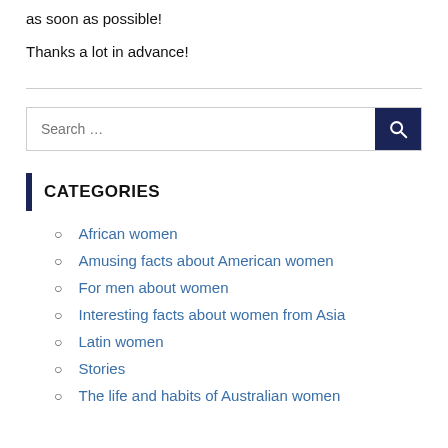as soon as possible!
Thanks a lot in advance!
CATEGORIES
African women
Amusing facts about American women
For men about women
Interesting facts about women from Asia
Latin women
Stories
The life and habits of Australian women